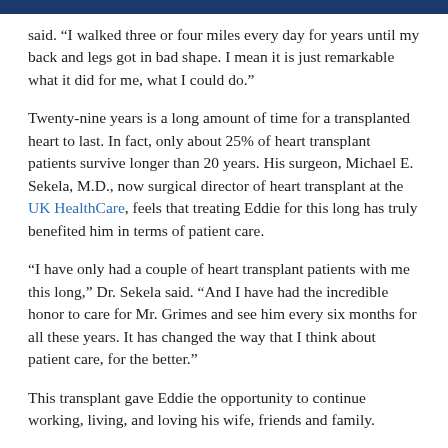said. “I walked three or four miles every day for years until my back and legs got in bad shape. I mean it is just remarkable what it did for me, what I could do.”
Twenty-nine years is a long amount of time for a transplanted heart to last. In fact, only about 25% of heart transplant patients survive longer than 20 years. His surgeon, Michael E. Sekela, M.D., now surgical director of heart transplant at the UK HealthCare, feels that treating Eddie for this long has truly benefited him in terms of patient care.
“I have only had a couple of heart transplant patients with me this long,” Dr. Sekela said. “And I have had the incredible honor to care for Mr. Grimes and see him every six months for all these years. It has changed the way that I think about patient care, for the better.”
This transplant gave Eddie the opportunity to continue working, living, and loving his wife, friends and family.